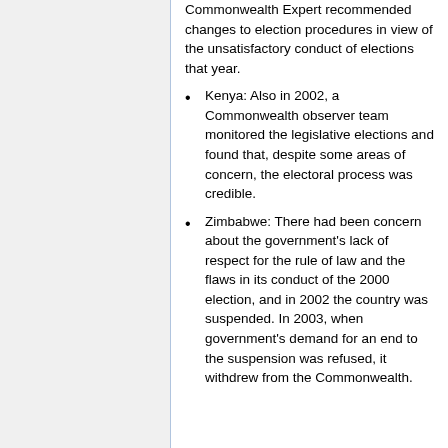Commonwealth Expert recommended changes to election procedures in view of the unsatisfactory conduct of elections that year.
Kenya: Also in 2002, a Commonwealth observer team monitored the legislative elections and found that, despite some areas of concern, the electoral process was credible.
Zimbabwe: There had been concern about the government's lack of respect for the rule of law and the flaws in its conduct of the 2000 election, and in 2002 the country was suspended. In 2003, when government's demand for an end to the suspension was refused, it withdrew from the Commonwealth.